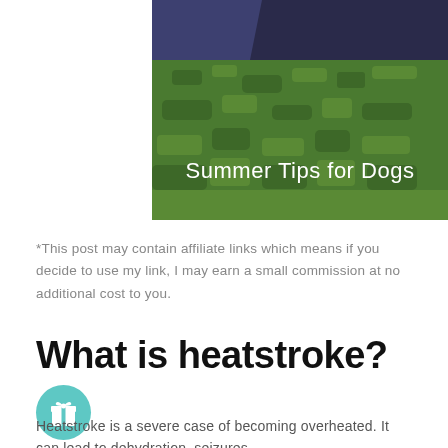[Figure (photo): Outdoor photo showing green grass with a blue/purple tent or tarp edge visible at top-left. White text overlay reads 'Summer Tips for Dogs'.]
*This post may contain affiliate links which means if you decide to use my link, I may earn a small commission at no additional cost to you.
What is heatstroke?
[Figure (illustration): Teal/mint circle icon with a white gift/present icon inside.]
Heatstroke is a severe case of becoming overheated. It can lead to dehydration, seizures...